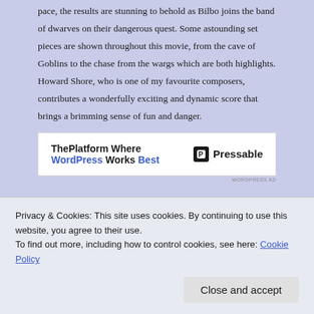pace, the results are stunning to behold as Bilbo joins the band of dwarves on their dangerous quest. Some astounding set pieces are shown throughout this movie, from the cave of Goblins to the chase from the wargs which are both highlights. Howard Shore, who is one of my favourite composers, contributes a wonderfully exciting and dynamic score that brings a brimming sense of fun and danger.
[Figure (other): Advertisement banner: ThePlatform Where WordPress Works Best — Pressable logo]
As the hobbit of the title, Martin Freeman is a joy to
Privacy & Cookies: This site uses cookies. By continuing to use this website, you agree to their use.
To find out more, including how to control cookies, see here: Cookie Policy
Close and accept